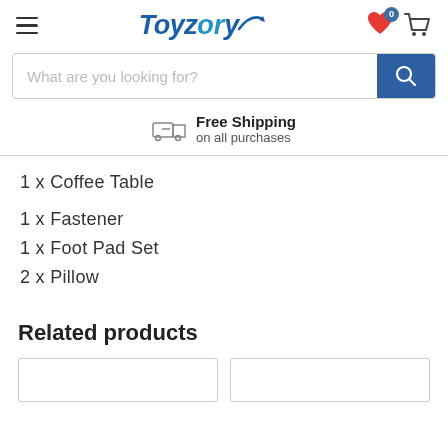Toyzory — navigation header with hamburger menu, logo, wishlist icon (0), and cart icon
[Figure (screenshot): Search bar with placeholder text 'What are you looking for?' and blue search button]
Free Shipping on all purchases
1 x Coffee Table
1 x Fastener
1 x Foot Pad Set
2 x Pillow
Related products